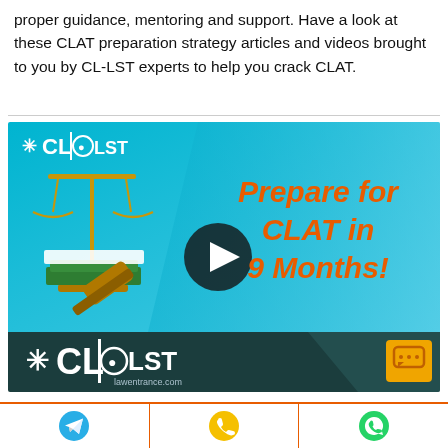proper guidance, mentoring and support. Have a look at these CLAT preparation strategy articles and videos brought to you by CL-LST experts to help you crack CLAT.
[Figure (screenshot): CL-LST branded video thumbnail showing a legal scales and gavel illustration on teal/blue background with orange bold text 'Prepare for CLAT in 9 Months!' and a play button in the center. Bottom dark bar shows CL|LST lawentrance.com logo and orange chat icon.]
[Figure (infographic): Footer navigation bar with three icon buttons: Telegram icon (blue), phone/call icon (yellow/green), WhatsApp icon (green), separated by orange borders]